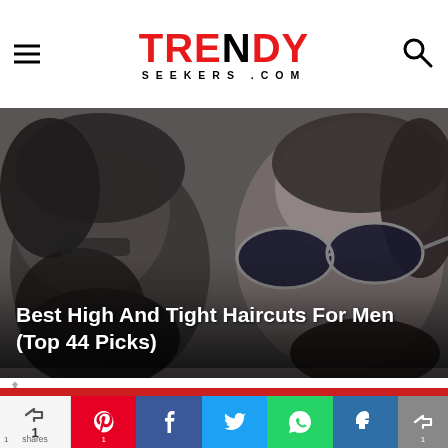TRENDY SEEKERS.COM
[Figure (photo): Two men with high and tight haircuts; left man has dark beard, right man wears aviator sunglasses with short fade cut.]
Best High And Tight Haircuts For Men (Top 44 Picks)
We use cookies to ensure the best experience on our website - by using this site or closing this message you're agreeing to our cookies policy.